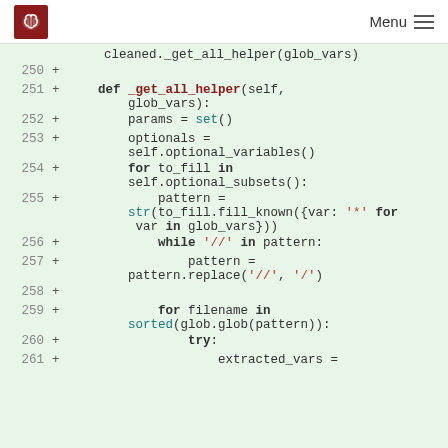Menu
cleaned._get_all_helper(glob_vars)
250 +
251 +     def _get_all_helper(self, glob_vars):
252 +         params = set()
253 +         optionals = self.optional_variables()
254 +         for to_fill in self.optional_subsets():
255 +             pattern = str(to_fill.fill_known({var: '*' for var in glob_vars}))
256 +             while '//' in pattern:
257 +                 pattern = pattern.replace('//', '/')
258 +
259 +             for filename in sorted(glob.glob(pattern)):
260 +                 try:
261 +                     extracted_vars =